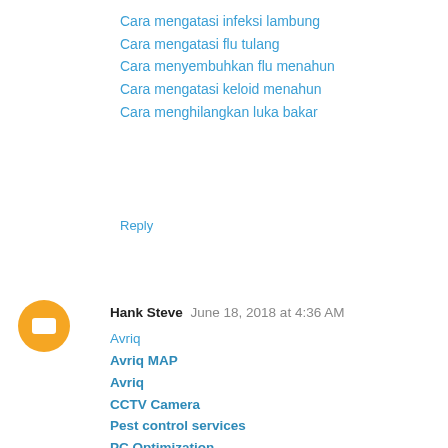Cara mengatasi infeksi lambung
Cara mengatasi flu tulang
Cara menyembuhkan flu menahun
Cara mengatasi keloid menahun
Cara menghilangkan luka bakar
Reply
Hank Steve  June 18, 2018 at 4:36 AM
Avriq
Avriq MAP
Avriq
CCTV Camera
Pest control services
PC Optimization
CP Plus
Termite control services
Reply